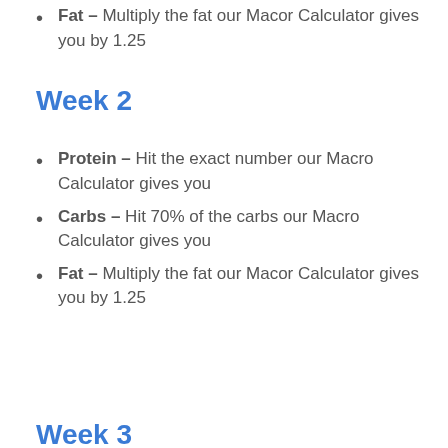Fat – Multiply the fat our Macor Calculator gives you by 1.25
Week 2
Protein – Hit the exact number our Macro Calculator gives you
Carbs – Hit 70% of the carbs our Macro Calculator gives you
Fat – Multiply the fat our Macor Calculator gives you by 1.25
Week 3